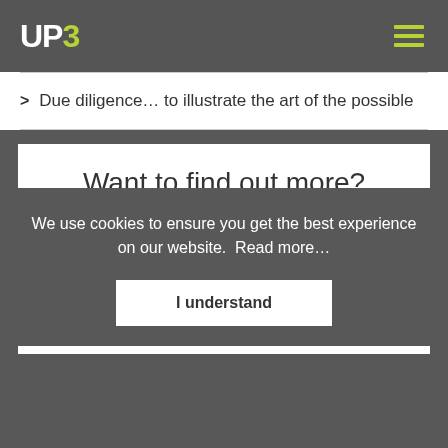UP3
Due diligence… to illustrate the art of the possible
Want to find out more?
We use cookies to ensure you get the best experience on our website.  Read more…
I understand